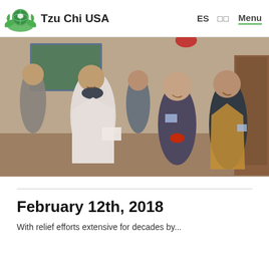Tzu Chi USA  ES  中文  Menu
[Figure (photo): Group of people indoors: a man in a white doctor's coat reading from a card, an elderly woman in a dark hoodie holding something red, a man in a dark vest with a name badge, and others in the background smiling]
February 12th, 2018
With relief efforts extensive for decades by...